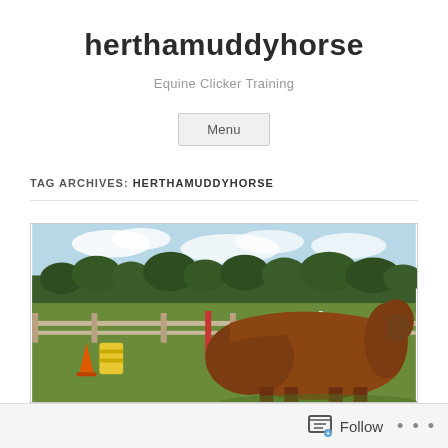herthamuddyhorse
Equine Clicker Training
Menu
TAG ARCHIVES: HERTHAMUDDYHORSE
[Figure (photo): A brown horse standing in a paddock with wooden fencing, orange cones, a yellow barrel, and trees in the background under a partly cloudy sky.]
Follow ...